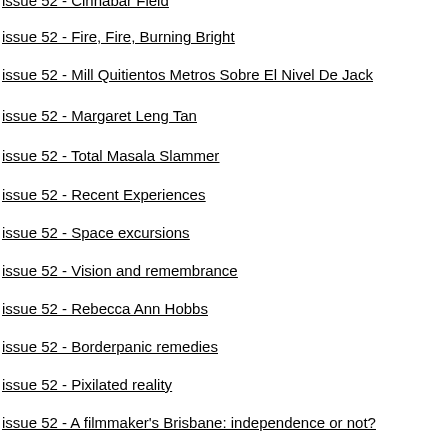issue 52 - Cinnabar Field
issue 52 - Fire, Fire, Burning Bright
issue 52 - Mill Quitientos Metros Sobre El Nivel De Jack
issue 52 - Margaret Leng Tan
issue 52 - Total Masala Slammer
issue 52 - Recent Experiences
issue 52 - Space excursions
issue 52 - Vision and remembrance
issue 52 - Rebecca Ann Hobbs
issue 52 - Borderpanic remedies
issue 52 - Pixilated reality
issue 52 - A filmmaker's Brisbane: independence or not?